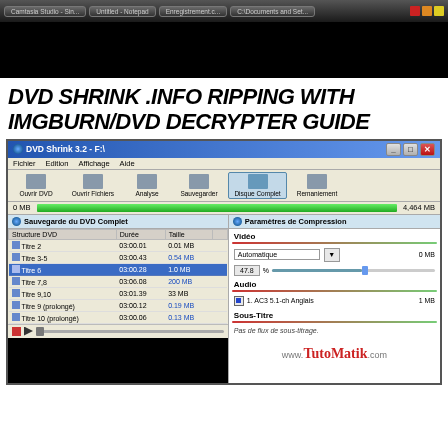[Figure (screenshot): Screenshot of a Windows taskbar/desktop with multiple open windows tabs visible at the top]
DVD SHRINK .INFO RIPPING WITH IMGBURN/DVD DECRYPTER GUIDE
[Figure (screenshot): DVD Shrink 3.2 software window showing DVD structure with titles, durations, sizes, and compression settings panel with Video, Audio, and Sous-Titre sections. Shows www.TutoMatik.com watermark.]